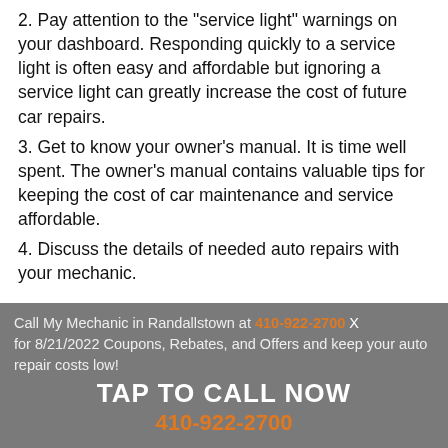2. Pay attention to the "service light" warnings on your dashboard. Responding quickly to a service light is often easy and affordable but ignoring a service light can greatly increase the cost of future car repairs.
3. Get to know your owner's manual. It is time well spent. The owner's manual contains valuable tips for keeping the cost of car maintenance and service affordable.
4. Discuss the details of needed auto repairs with your mechanic.
Call My Mechanic in Randallstown at 410-922-2700 for 8/21/2022 Coupons, Rebates, and Offers and keep your auto repair costs low!
TAP TO CALL NOW
410-922-2700